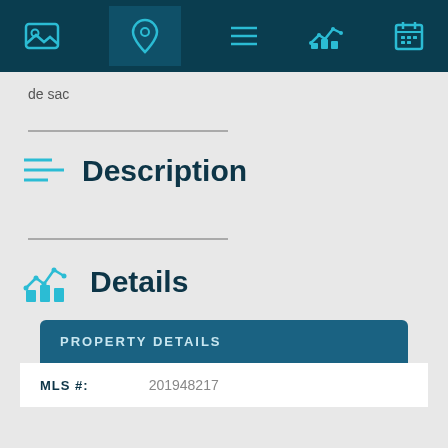Navigation bar with icons: image, location pin, menu, chart/details, calendar
de sac
Description
Details
| PROPERTY DETAILS |  |
| --- | --- |
| MLS #: | 201948217 |